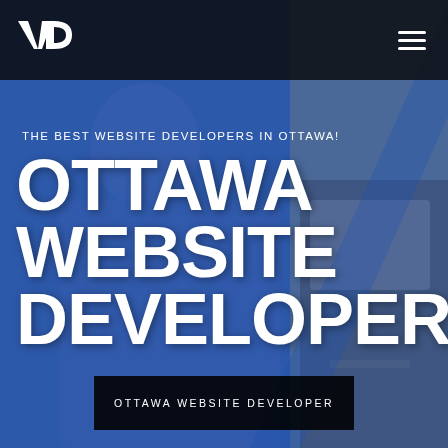[Figure (screenshot): Website screenshot showing Ottawa Website Developer company page with dark navigation bar containing logo and hamburger menu, blue-tinted hero section with grayscale background photo of people working]
VD logo and hamburger menu navigation
THE BEST WEBSITE DEVELOPERS IN OTTAWA!
OTTAWA WEBSITE DEVELOPER
OTTAWA WEBSITE DEVELOPER